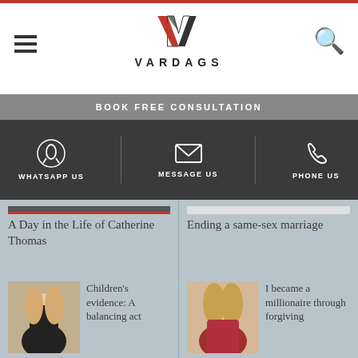[Figure (logo): Vardags law firm logo — stylized VM monogram in red and black above the text VARDAGS]
VARDAGS
BOOK FREE CONSULTATION
WHATSAPP US
MESSAGE US
PHONE US
A Day in the Life of Catherine Thomas
Ending a same-sex marriage
[Figure (photo): Young blonde woman in black top — professional headshot]
Children's evidence: A balancing act
[Figure (photo): Blonde woman in red patterned top — professional photo]
I became a millionaire through forgiving